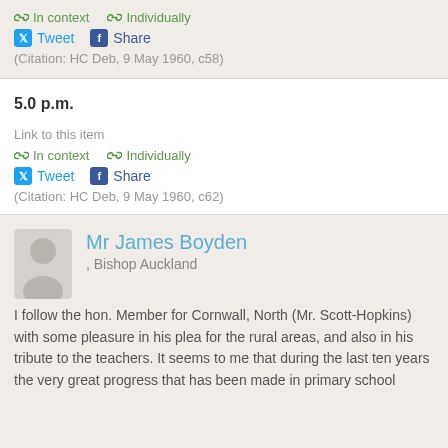In context   Individually
Tweet   Share
(Citation: HC Deb, 9 May 1960, c58)
5.0 p.m.
Link to this item
In context   Individually
Tweet   Share
(Citation: HC Deb, 9 May 1960, c62)
Mr James Boyden , Bishop Auckland
I follow the hon. Member for Cornwall, North (Mr. Scott-Hopkins) with some pleasure in his plea for the rural areas, and also in his tribute to the teachers. It seems to me that during the last ten years the very great progress that has been made in primary school